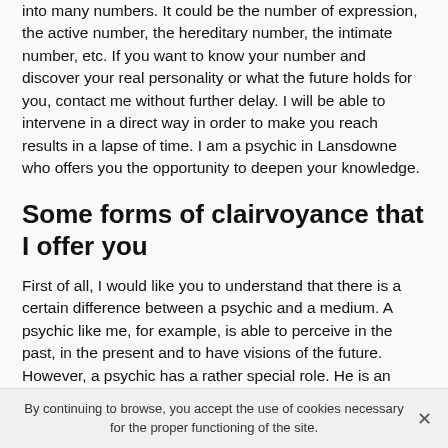into many numbers. It could be the number of expression, the active number, the hereditary number, the intimate number, etc. If you want to know your number and discover your real personality or what the future holds for you, contact me without further delay. I will be able to intervene in a direct way in order to make you reach results in a lapse of time. I am a psychic in Lansdowne who offers you the opportunity to deepen your knowledge.
Some forms of clairvoyance that I offer you
First of all, I would like you to understand that there is a certain difference between a psychic and a medium. A psychic like me, for example, is able to perceive in the past, in the present and to have visions of the future. However, a psychic has a rather special role. He is an
By continuing to browse, you accept the use of cookies necessary for the proper functioning of the site.